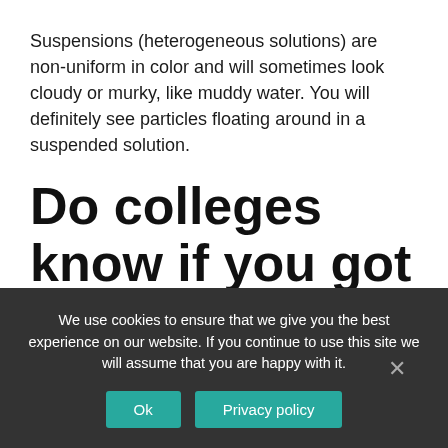Suspensions (heterogeneous solutions) are non-uniform in color and will sometimes look cloudy or murky, like muddy water. You will definitely see particles floating around in a suspended solution.
Do colleges know if you got suspended?
We use cookies to ensure that we give you the best experience on our website. If you continue to use this site we will assume that you are happy with it.